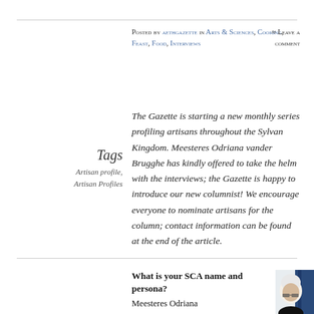Posted by aethgazette in Arts & Sciences, Cooking, Feast, Food, Interviews ≈ Leave a comment
Tags
Artisan profile, Artisan Profiles
The Gazette is starting a new monthly series profiling artisans throughout the Sylvan Kingdom. Meesteres Odriana vander Brugghe has kindly offered to take the helm with the interviews; the Gazette is happy to introduce our new columnist! We encourage everyone to nominate artisans for the column; contact information can be found at the end of the article.
What is your SCA name and persona?
Meesteres Odriana
[Figure (photo): Portrait photo of a blonde woman wearing glasses and a white head covering, with blue curtain/drape in the background]